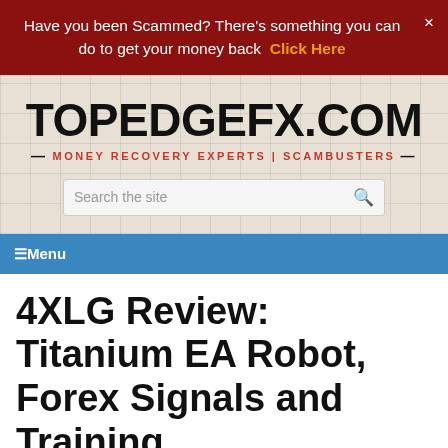Have you been Scammed? There's something you can do to get your money back  Click Here
TOPEDGEFX.COM
— MONEY RECOVERY EXPERTS | SCAMBUSTERS —
Search the site
☰Menu
4XLG Review: Titanium EA Robot, Forex Signals and Training